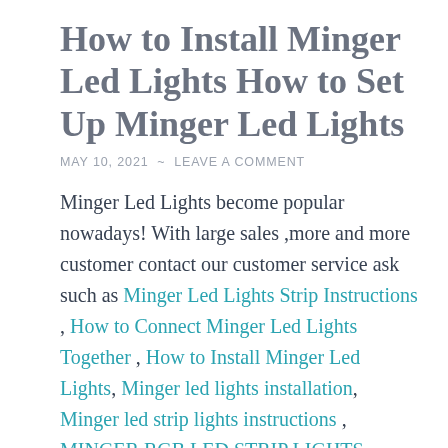How to Install Minger Led Lights How to Set Up Minger Led Lights
MAY 10, 2021  ~  LEAVE A COMMENT
Minger Led Lights become popular nowadays! With large sales ,more and more customer contact our customer service ask such as Minger Led Lights Strip Instructions , How to Connect Minger Led Lights Together , How to Install Minger Led Lights, Minger led lights installation, Minger led strip lights instructions , MINGER RGB LED STRIP LIGHTS INSTALLATION , MINGER RGB LED STRIP LIGHTS INSTRUCTIONS etc. Though Minger package come with the minger user manual & instruction, Minger company decide to post a instructions for Minger's